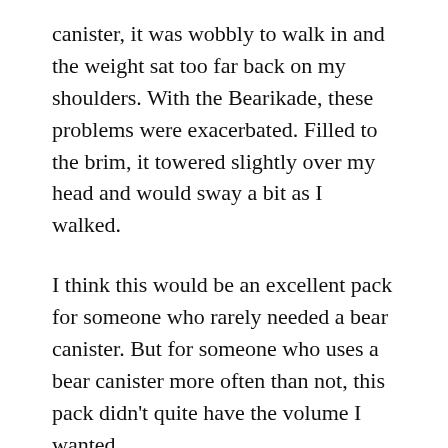canister, it was wobbly to walk in and the weight sat too far back on my shoulders. With the Bearikade, these problems were exacerbated. Filled to the brim, it towered slightly over my head and would sway a bit as I walked.
I think this would be an excellent pack for someone who rarely needed a bear canister. But for someone who uses a bear canister more often than not, this pack didn't quite have the volume I wanted.
Note: There is actually a larger version of this pack, the Windrider 4400, which holds 70L and up to 65lbs. That version would likely fit a